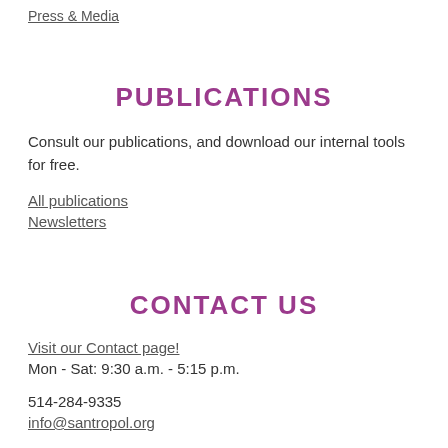Press & Media
PUBLICATIONS
Consult our publications, and download our internal tools for free.
All publications
Newsletters
CONTACT US
Visit our Contact page!
Mon - Sat: 9:30 a.m. - 5:15 p.m.
514-284-9335
info@santropol.org